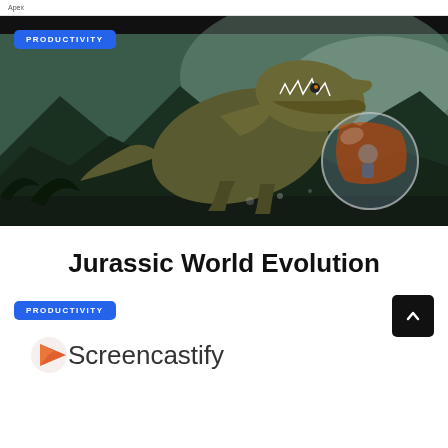Apex
[Figure (photo): Hero image showing a dinosaur (T-Rex style) roaring at a person inside a transparent gyrosphere ball, set in a jungle environment. Jurassic World Evolution game artwork.]
PRODUCTIVITY
Jurassic World Evolution
PRODUCTIVITY
[Figure (logo): Screencastify logo: orange/red play button triangle icon followed by the text 'Screencastify']